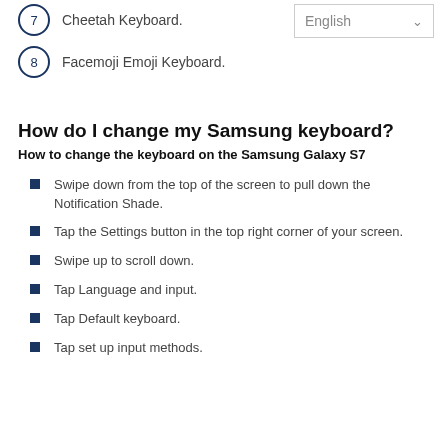7. Cheetah Keyboard.
8. Facemoji Emoji Keyboard.
[Figure (screenshot): English language dropdown selector]
How do I change my Samsung keyboard?
How to change the keyboard on the Samsung Galaxy S7
Swipe down from the top of the screen to pull down the Notification Shade.
Tap the Settings button in the top right corner of your screen.
Swipe up to scroll down.
Tap Language and input.
Tap Default keyboard.
Tap set up input methods.